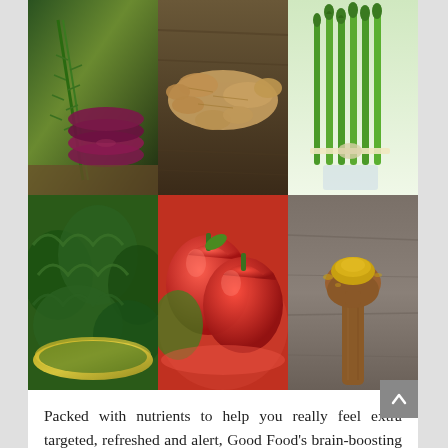[Figure (photo): A 2x3 grid of food photography images showing: (1) stacked purple beet slices with rosemary herb, (2) fresh ginger root on dark wooden surface, (3) bundle of green asparagus tied with string, (4) fresh kale in a golden bowl, (5) red bell peppers in a bowl, (6) a wooden spoon with yellow turmeric/curry powder on gray surface]
Packed with nutrients to help you really feel extra targeted, refreshed and alert, Good Food’s brain-boosting recipes will give your grey matter some TLC. The secret to hosting a big group is having satisfying Super Bowl healthy apps in case you're